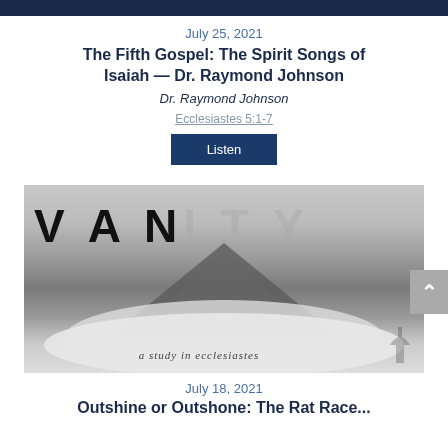[Figure (photo): Dark banner at top of page]
July 25, 2021
The Fifth Gospel: The Spirit Songs of Isaiah — Dr. Raymond Johnson
Dr. Raymond Johnson
Ecclesiastes 5:1-7
Listen
[Figure (photo): Vanity - a study in ecclesiastes. Black and white image of a mountain peak rising above clouds with large text VANITY overlaid.]
July 18, 2021
Outshine or Outshone: The Rat Race...